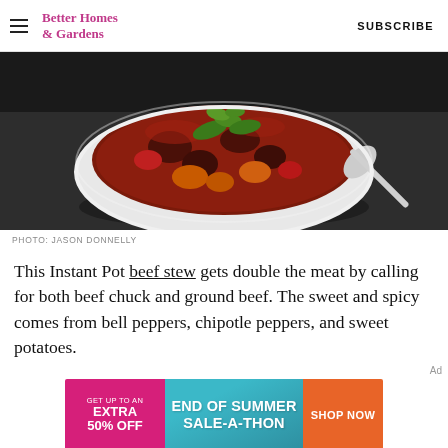Better Homes & Gardens  SUBSCRIBE
[Figure (photo): A white bowl filled with beef stew containing chunks of meat, orange sweet potatoes, red tomato sauce, and garnished with fresh cilantro. A silver spoon rests beside the bowl on a dark slate surface.]
PHOTO: JASON DONNELLY
This Instant Pot beef stew gets double the meat by calling for both beef chuck and ground beef. The sweet and spicy comes from bell peppers, chipotle peppers, and sweet potatoes.
[Figure (infographic): Advertisement banner: GET UP TO AN EXTRA 50% OFF | END OF SUMMER SALE-A-THON | SHOP NOW]